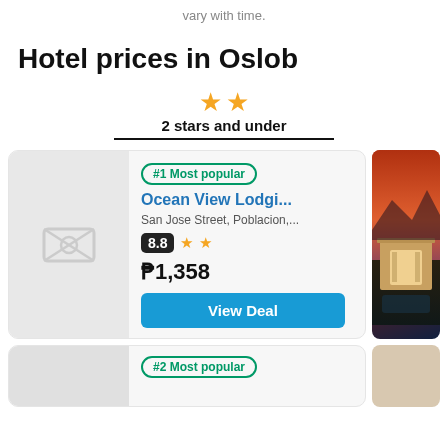vary with time.
Hotel prices in Oslob
[Figure (infographic): Two gold stars icon above text '2 stars and under' with a horizontal underline]
#1 Most popular | Ocean View Lodgi... | San Jose Street, Poblacion,... | Rating: 8.8, 2 stars | ₱1,358 | View Deal
#2 Most popular
[Figure (photo): Hotel exterior photo at sunset with red/orange sky, lit entrance with columns, pool in foreground]